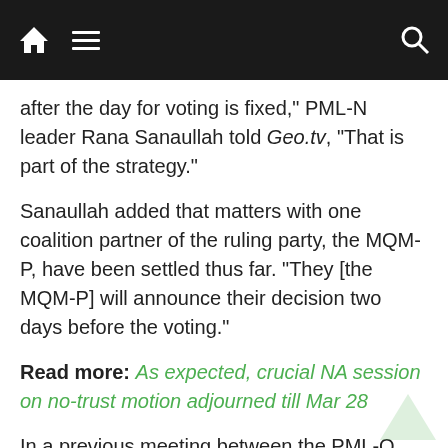Navigation bar with home, menu, and search icons
after the day for voting is fixed," PML-N leader Rana Sanaullah told Geo.tv, "That is part of the strategy."
Sanaullah added that matters with one coalition partner of the ruling party, the MQM-P, have been settled thus far. "They [the MQM-P] will announce their decision two days before the voting."
Read more: As expected, crucial NA session on no-trust motion adjourned till Mar 28
In a previous meeting between the PML-Q and PML-N, Chaudhry Shujaat Hussain from the PML-Q suggested that the two parties